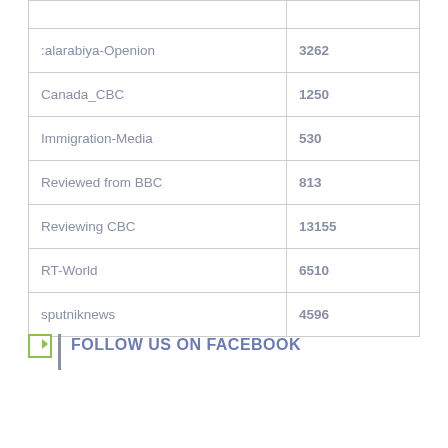|  |  |
| --- | --- |
| :alarabiya-Openion | 3262 |
| Canada_CBC | 1250 |
| Immigration-Media | 530 |
| Reviewed from BBC | 813 |
| Reviewing CBC | 13155 |
| RT-World | 6510 |
| sputniknews | 4596 |
FOLLOW US ON FACEBOOK